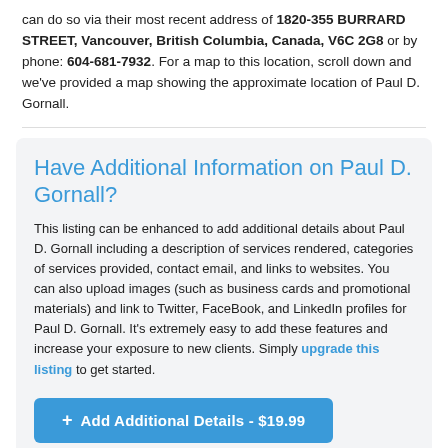can do so via their most recent address of 1820-355 BURRARD STREET, Vancouver, British Columbia, Canada, V6C 2G8 or by phone: 604-681-7932. For a map to this location, scroll down and we've provided a map showing the approximate location of Paul D. Gornall.
Have Additional Information on Paul D. Gornall?
This listing can be enhanced to add additional details about Paul D. Gornall including a description of services rendered, categories of services provided, contact email, and links to websites. You can also upload images (such as business cards and promotional materials) and link to Twitter, FaceBook, and LinkedIn profiles for Paul D. Gornall. It's extremely easy to add these features and increase your exposure to new clients. Simply upgrade this listing to get started.
+ Add Additional Details - $19.99